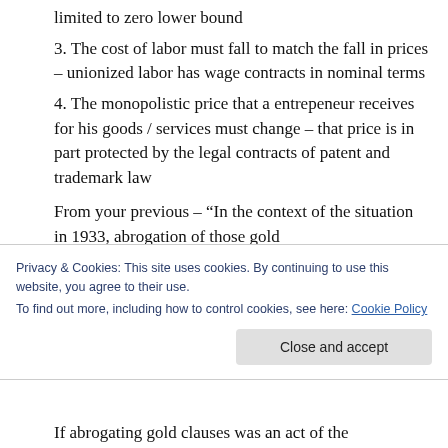limited to zero lower bound
3. The cost of labor must fall to match the fall in prices – unionized labor has wage contracts in nominal terms
4. The monopolistic price that a entrepeneur receives for his goods / services must change – that price is in part protected by the legal contracts of patent and trademark law
From your previous – “In the context of the situation in 1933, abrogation of those gold
Privacy & Cookies: This site uses cookies. By continuing to use this website, you agree to their use.
To find out more, including how to control cookies, see here: Cookie Policy
If abrogating gold clauses was an act of the